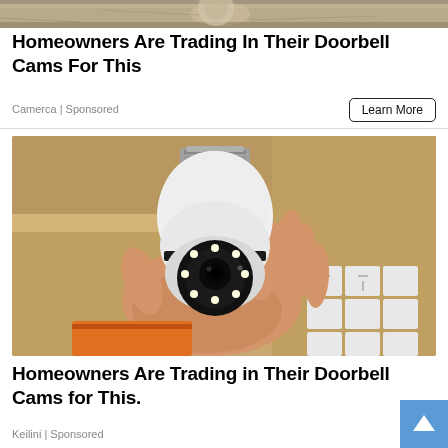[Figure (photo): Top portion of an advertisement image showing a stone or concrete wall/doorbell area (cropped, only bottom strip visible)]
Homeowners Are Trading In Their Doorbell Cams For This
Camerca | Sponsored
Learn More
[Figure (photo): A hand holding a light-bulb-shaped security camera device (white, with a camera lens and LED ring at the bottom, metal screw base at top). Background shows wooden shelving and white circuit breaker modules.]
Homeowners Are Trading in Their Doorbell Cams for This.
Keilini | Sponsored